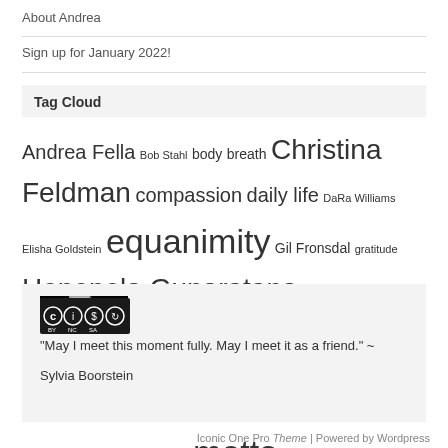About Andrea
Sign up for January 2022!
Tag Cloud
Andrea Fella Bob Stahl body breath Christina Feldman compassion daily life DaRa Williams Elisha Goldstein equanimity Gil Fronsdal gratitude Henepola Gunaratana hindrances intention Jack Kornfield Jeanne Corrigal Jill Shepherd Joseph Goldstein joy Kamala Masters Mark Coleman metta Sally Armstrong Sharon Salzberg Susie Harrington Tara Brach Thich Nhat Hanh thoughts welcome
[Figure (logo): Creative Commons BY NC SA license badge]
"May I meet this moment fully. May I meet it as a friend." ~ Sylvia Boorstein
Iconic One Pro Theme | Powered by Wordpress